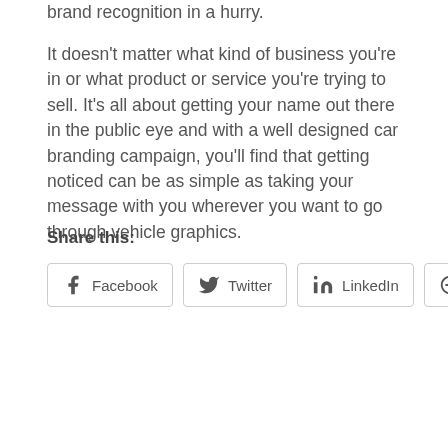brand recognition in a hurry.
It doesn't matter what kind of business you're in or what product or service you're trying to sell. It's all about getting your name out there in the public eye and with a well designed car branding campaign, you'll find that getting noticed can be as simple as taking your message with you wherever you want to go through vehicle graphics.
Share this:
Facebook
Twitter
LinkedIn
Pinterest